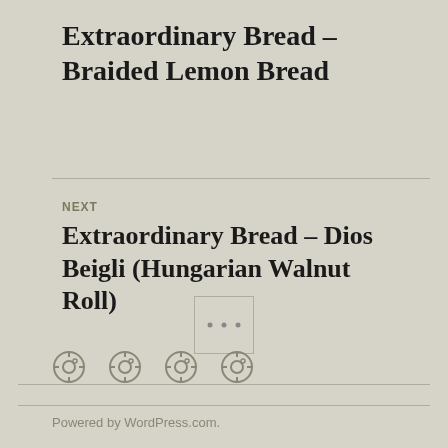Extraordinary Bread – Braided Lemon Bread
NEXT
Extraordinary Bread – Dios Beigli (Hungarian Walnut Roll)
[Figure (other): Ellipsis button (three dots) inside a square border, used as a menu or expand control]
[Figure (other): Row of four social media icons (circular icon designs)]
Powered by WordPress.com.